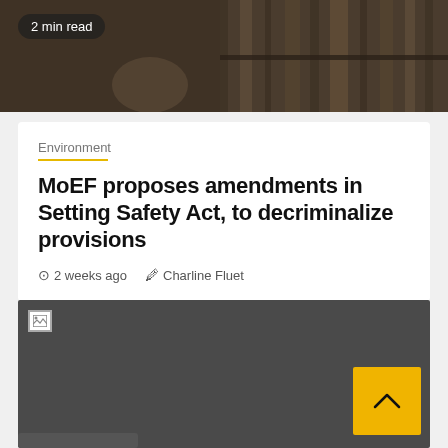[Figure (photo): Top portion of a bookshelf/library background image with dark warm tones showing books on shelves]
2 min read
Environment
MoEF proposes amendments in Setting Safety Act, to decriminalize provisions
2 weeks ago   Charline Fluet
[Figure (photo): Second article image, appears as a dark gray placeholder with a broken image icon in the top left corner]
[Figure (other): Yellow scroll-to-top button with upward chevron arrow]